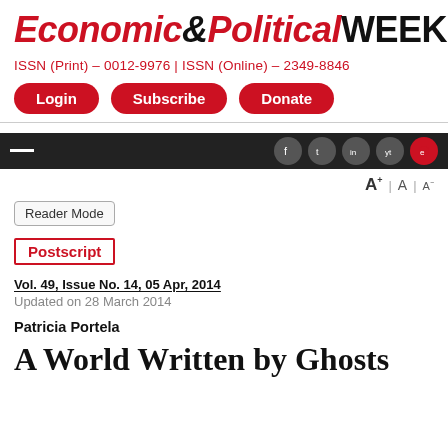Economic&Political WEEKLY
ISSN (Print) – 0012-9976 | ISSN (Online) – 2349-8846
Login  Subscribe  Donate
Postscript
Vol. 49, Issue No. 14, 05 Apr, 2014
Updated on 28 March 2014
Patricia Portela
A World Written by Ghosts